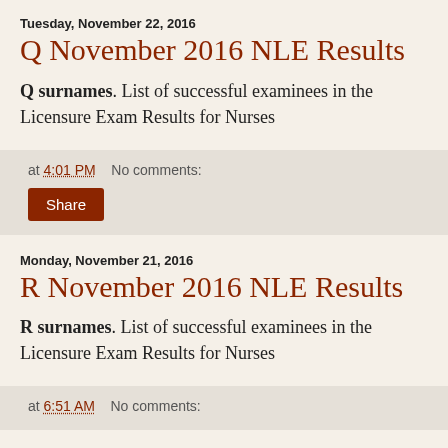Tuesday, November 22, 2016
Q November 2016 NLE Results
Q surnames. List of successful examinees in the Licensure Exam Results for Nurses
at 4:01 PM    No comments:
Share
Monday, November 21, 2016
R November 2016 NLE Results
R surnames. List of successful examinees in the Licensure Exam Results for Nurses
at 6:51 AM    No comments: